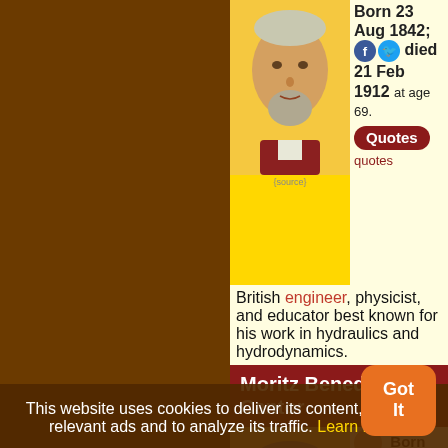[Figure (photo): Portrait of a British engineer/physicist with beard, yellowish background]
Born 23 Aug 1842; died 21 Feb 1912 at age 69.
Quotes quotes
British engineer, physicist, and educator best known for his work in hydraulics and hydrodynamics.
Moritz Benedikt Cantor
[Figure (photo): Portrait of Moritz Benedikt Cantor, older man with glasses, yellowish background]
Born 23 Aug 1829; died 10 Apr 1920 at age 90.
Quotes quotes
German historian of mathematics, one of the
This website uses cookies to deliver its content, to show relevant ads and to analyze its traffic. Learn More
Got It